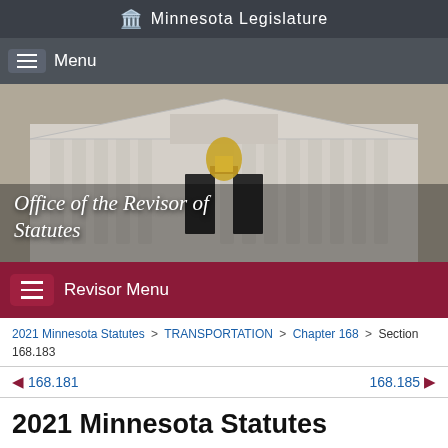Minnesota Legislature
[Figure (screenshot): Minnesota State Capitol building facade with golden sculpture, hero banner for Office of the Revisor of Statutes]
Office of the Revisor of Statutes
Revisor Menu
2021 Minnesota Statutes > TRANSPORTATION > Chapter 168 > Section 168.183
168.181   168.185
2021 Minnesota Statutes